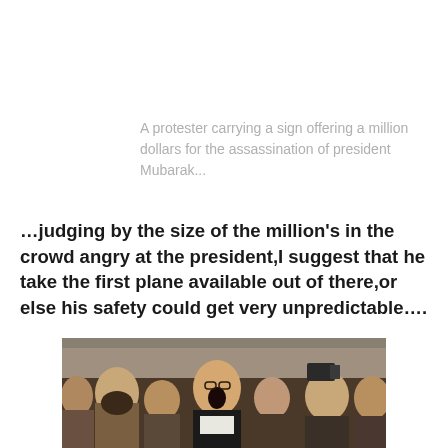A protester carrying a sign offering a million dollars for the assassination of president Mubarak...
...judging by the size of the million's in the crowd angry at the president,I suggest that he take the first plane available out of there,or else his safety could get very unpredictable....
[Figure (photo): A crowd of protesters, showing men with angry expressions, one person in the center shouting with mouth wide open, wearing a black jacket with a white scarf.]